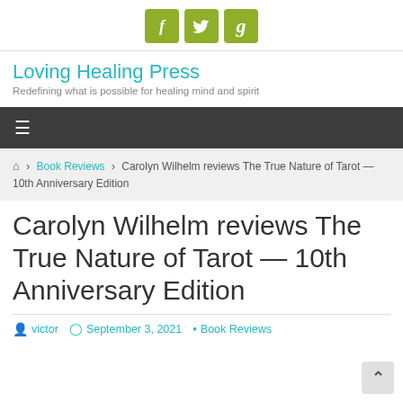[Figure (logo): Social media icons for Facebook, Twitter, and Goodreads in olive/green square buttons]
Loving Healing Press
Redefining what is possible for healing mind and spirit
[Figure (infographic): Dark grey navigation bar with hamburger menu icon]
🏠 › Book Reviews › Carolyn Wilhelm reviews The True Nature of Tarot — 10th Anniversary Edition
Carolyn Wilhelm reviews The True Nature of Tarot — 10th Anniversary Edition
victor  September 3, 2021  Book Reviews